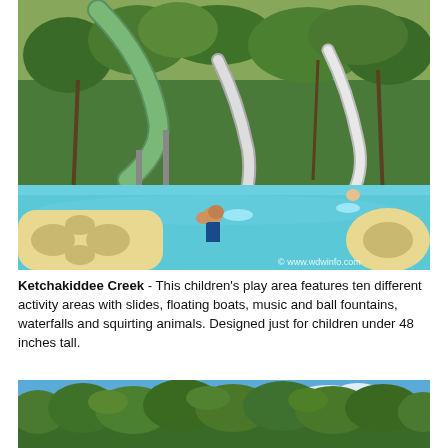[Figure (photo): Water park pool area with large water slides, people on inflatable floats in turquoise water, surrounded by tropical trees. Watermark: © www.wdwinfo.com]
Ketchakiddee Creek - This children's play area features ten different activity areas with slides, floating boats, music and ball fountains, waterfalls and squirting animals. Designed just for children under 48 inches tall.
[Figure (photo): Tropical trees and blue sky, partial view of a water park area with palm trees and lush green foliage against a bright blue sky with a few clouds.]